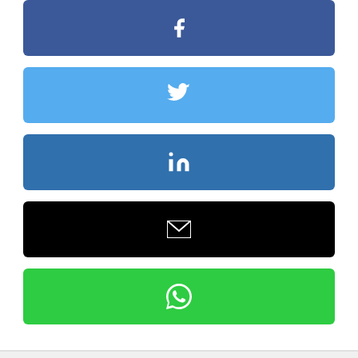[Figure (screenshot): Social share buttons: Facebook (dark blue), Twitter (light blue), LinkedIn (medium blue), Email (black), WhatsApp (green), each as a wide rounded rectangle with a white icon centered]
[Figure (screenshot): Gray circular back/previous navigation button with a left-pointing chevron icon, on a light gray background]